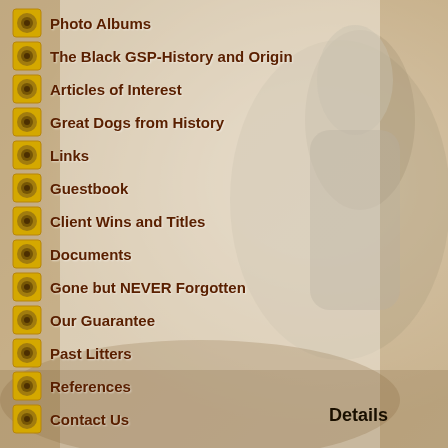[Figure (illustration): Faded nature/hunting background image with a bird (likely a grouse or similar game bird) visible on the right side, overlaid with a semi-transparent white area on the left to allow text readability.]
Photo Albums
The Black GSP-History and Origin
Articles of Interest
Great Dogs from History
Links
Guestbook
Client Wins and Titles
Documents
Gone but NEVER Forgotten
Our Guarantee
Past Litters
References
Contact Us
Details